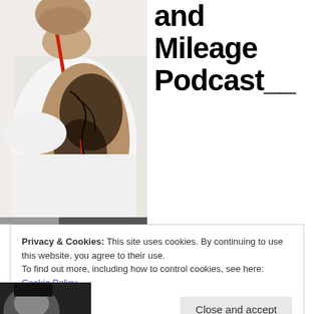[Figure (photo): A muscular man with tattoos on his arm wearing a white tank top with a red strap visible. Photo cropped from shoulders down, showing detailed arm tattoos.]
and Mileage Podcast__
Privacy & Cookies: This site uses cookies. By continuing to use this website, you agree to their use.
To find out more, including how to control cookies, see here: Cookie Policy
[Figure (photo): Partial bottom photo visible at bottom left, appears to be another person.]